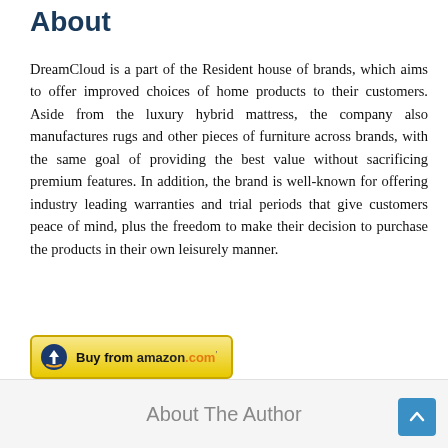About
DreamCloud is a part of the Resident house of brands, which aims to offer improved choices of home products to their customers. Aside from the luxury hybrid mattress, the company also manufactures rugs and other pieces of furniture across brands, with the same goal of providing the best value without sacrificing premium features. In addition, the brand is well-known for offering industry leading warranties and trial periods that give customers peace of mind, plus the freedom to make their decision to purchase the products in their own leisurely manner.
[Figure (other): Buy from amazon.com button with Amazon logo arrow icon and yellow gradient background]
About The Author